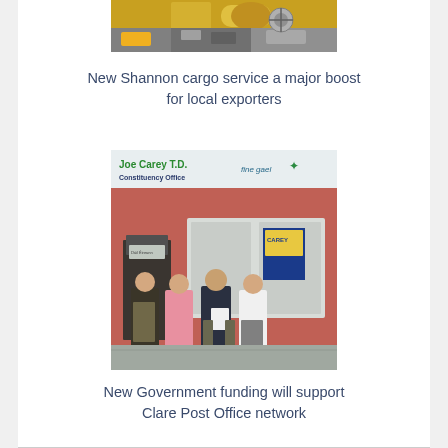[Figure (photo): Aerial/cargo photo showing aircraft and cargo area with yellow equipment]
New Shannon cargo service a major boost for local exporters
[Figure (photo): Photo of four people standing outside Joe Carey T.D. Constituency Office (Fine Gael), a red-painted building. One person holds a document. A campaign poster is visible in the window.]
New Government funding will support Clare Post Office network